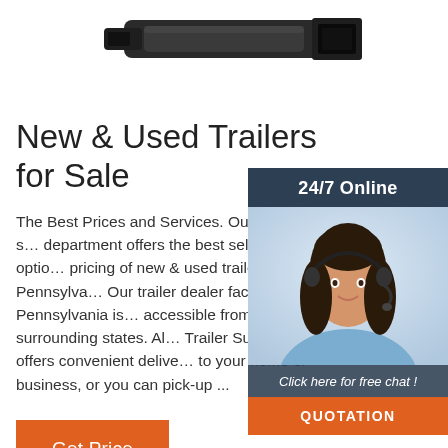[Figure (photo): Trailer hitch / receiver product photo, dark metallic hardware on white background, cropped at top]
New & Used Trailers for Sale
The Best Prices and Services. Our trailer sales department offers the best selection, options and pricing of new & used trailers in Pennsylvania. Our trailer dealer facility in Pennsylvania is easily accessible from our surrounding states. Also, Trailer Superstore offers convenient delivery right to your home or business, or you can pick-up ...
[Figure (photo): 24/7 Online chat widget with photo of smiling woman with headset, dark navy header reading '24/7 Online', italic text 'Click here for free chat!', orange QUOTATION button]
Get Price